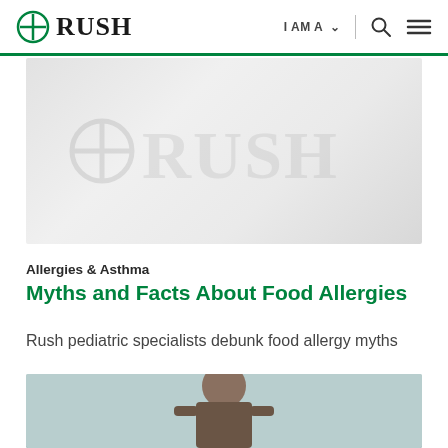RUSH | I AM A | Search | Menu
[Figure (logo): RUSH logo watermark on gray gradient background]
Allergies & Asthma
Myths and Facts About Food Allergies
Rush pediatric specialists debunk food allergy myths
[Figure (photo): Photo of a person (doctor or patient) in a medical setting]